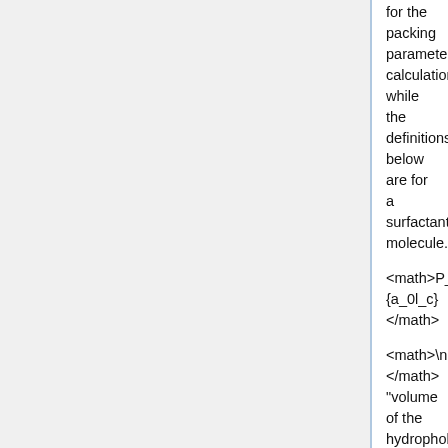for the packing parameter calculation, while the definitions below are for a surfactant molecule.
<math>\nu=</math> "volume of the hydrophobic tail"
<math>a_0=</math> "optimum surface area of the head groups"
<math>l_c=</math> "fully extended chain length of the tail"
By changing the chemistry during the formation of the dimer particles, the researchers vary the geometry of the particles and reach <math>P_{packing}</math> between .6 and 1. Similarly to how surfactants assemble into micelles, the dimer particles assemble into clusters in water. The dimer's